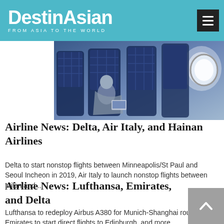DestinAsian — FROM ASIA TO THE WORLD
[Figure (photo): Airplane cabin interior showing blue quilted seats with passengers]
Airline News: Delta, Air Italy, and Hainan Airlines
Delta to start nonstop flights between Minneapolis/St Paul and Seoul Incheon in 2019, Air Italy to launch nonstop flights between Milan and ...
Airline News: Lufthansa, Emirates, and Delta
Lufthansa to redeploy Airbus A380 for Munich-Shanghai route, Emirates to start direct flights to Edinburgh, and more...